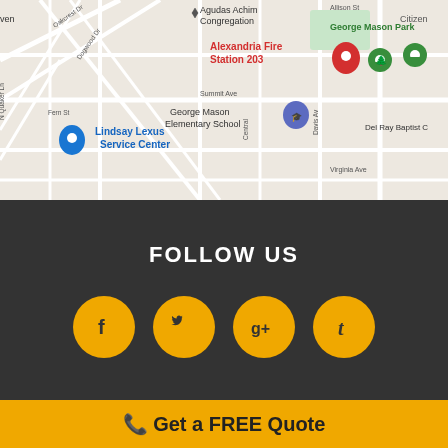[Figure (map): Google Maps screenshot showing area around Alexandria Fire Station 203, George Mason Elementary School, George Mason Park, Lindsay Lexus Service Center, and Agudas Achim Congregation in Alexandria, VA]
FOLLOW US
[Figure (infographic): Four social media icon buttons: Facebook, Twitter, Google+, Tumblr — gold circles with dark icons on dark background]
Get a FREE Quote